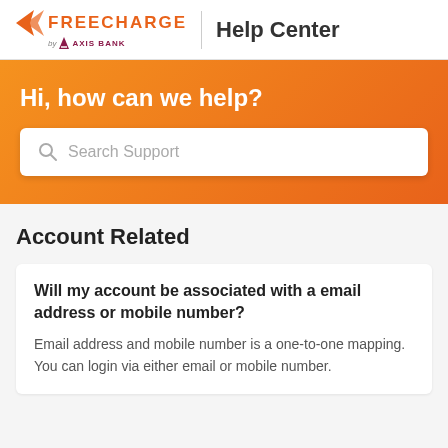[Figure (logo): FreeCharge by Axis Bank logo and Help Center header]
Hi, how can we help?
Search Support
Account Related
Will my account be associated with a email address or mobile number?
Email address and mobile number is a one-to-one mapping. You can login via either email or mobile number.